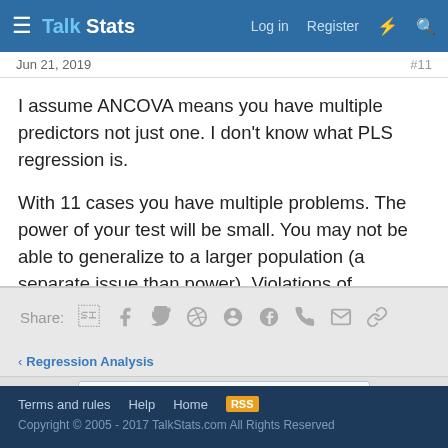Talk Stats — Log in  Register
Jun 21, 2019
#11
I assume ANCOVA means you have multiple predictors not just one. I don't know what PLS regression is.

With 11 cases you have multiple problems. The power of your test will be small. You may not be able to generalize to a larger population (a separate issue than power). Violations of regression assumptions will be more serve with so few cases.
You must log in or register to reply here.
Share:
< Regression Analysis
Terms and rules  Help  Home
Copyright © 2005 - 2017 TalkStats.com All Rights Reserved